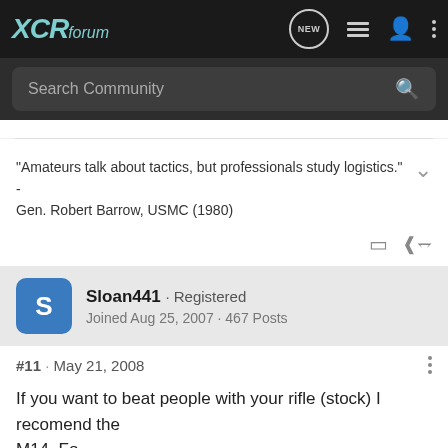XCRforum
Search Community
"Amateurs talk about tactics, but professionals study logistics." - Gen. Robert Barrow, USMC (1980)
Sloan441 · Registered
Joined Aug 25, 2007 · 467 Posts
#11 · May 21, 2008
If you want to beat people with your rifle (stock) I recomend the M14. Fo
[Figure (photo): Advertisement banner: Kel-Tec CP33 pistol ad reading SEEKING LONG RANGE RELATIONSHIP with Buy Now button]